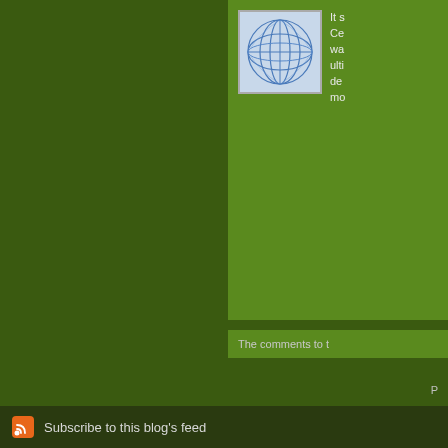[Figure (illustration): Thumbnail image with blue network/globe graphic on white background]
It s Ce wa ulti de mo
The comments to t
P
How to teach the i context and audie Planetary/Batman
Subscribe to this blog's feed